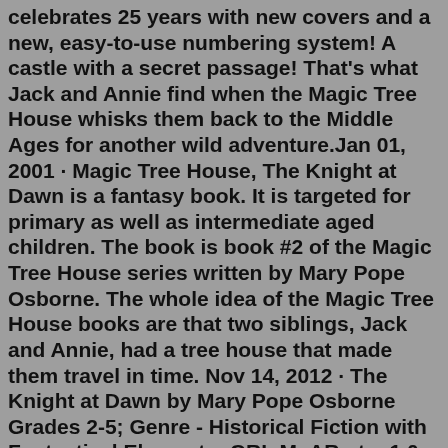celebrates 25 years with new covers and a new, easy-to-use numbering system! A castle with a secret passage! That's what Jack and Annie find when the Magic Tree House whisks them back to the Middle Ages for another wild adventure.Jan 01, 2001 · Magic Tree House, The Knight at Dawn is a fantasy book. It is targeted for primary as well as intermediate aged children. The book is book #2 of the Magic Tree House series written by Mary Pope Osborne. The whole idea of the Magic Tree House books are that two siblings, Jack and Annie, had a tree house that made them travel in time. Nov 14, 2012 · The Knight at Dawn by Mary Pope Osborne Grades 2-5; Genre - Historical Fiction with Fantastical Elements; GRL M; AR pts: 1.0 Jack and Annie are taken on another adventure in the magic tree house. This time they visit a castle where a knight saves them. They're still not sure who owns the tree house, […] Magic Tree House: The Knight at Dawn KIDS is an adaptation of the second of Mary Pope Osborne's award-winning fantasy adventure books from the Magic Tree House